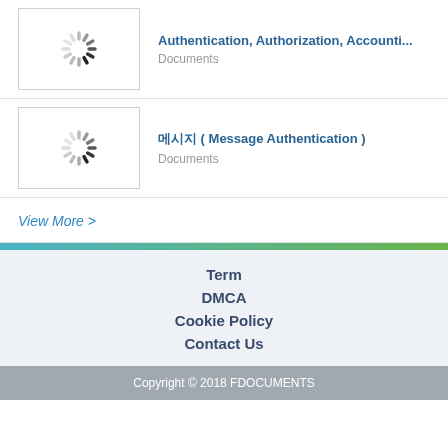[Figure (other): Loading spinner thumbnail for document card 1]
Authentication, Authorization, Accounti...
Documents
[Figure (other): Loading spinner thumbnail for document card 2]
메시지 ( Message Authentication )
Documents
View More >
Term
DMCA
Cookie Policy
Contact Us
Copyright © 2018 FDOCUMENTS